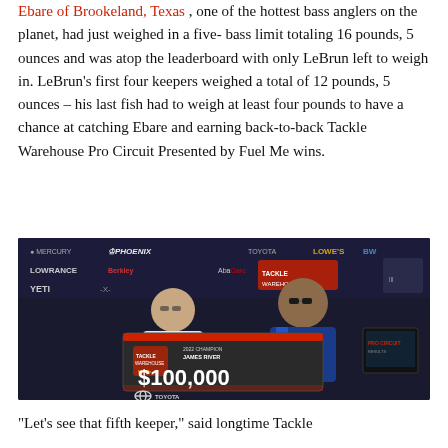Ebare of Brookeland, Texas , one of the hottest bass anglers on the planet, had just weighed in a five-bass limit totaling 16 pounds, 5 ounces and was atop the leaderboard with only LeBrun left to weigh in. LeBrun’s first four keepers weighed a total of 12 pounds, 5 ounces – his last fish had to weigh at least four pounds to have a chance at catching Ebare and earning back-to-back Tackle Warehouse Pro Circuit Presented by Fuel Me wins.
[Figure (photo): Two people holding a large oversized check for $100,000 at a fishing tournament. The check reads '2022 CHAMPION JAMES RIVER' and '$100,000' with TOYOTA branding at the bottom. Sponsor banners visible in background including Mercury, Phoenix, Lowrance, Berkley, YETI, and others. The man on the right is wearing a blue fishing tournament jersey and sunglasses.]
“Let’s see that fifth keeper,” said longtime Tackle